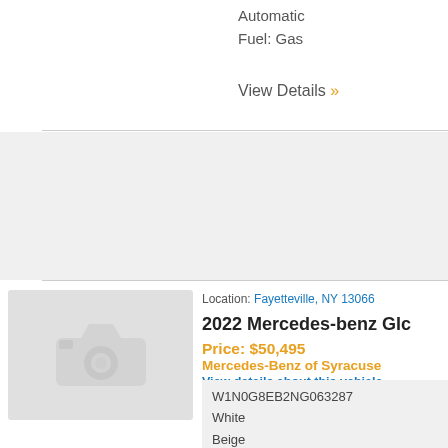Automatic
Fuel: Gas
View Details »
Location: Fayetteville, NY 13066
2022 Mercedes-benz Glc
Price: $50,495
Mercedes-Benz of Syracuse
View details about this vehicle
W1N0G8EB2NG063287
White
Beige
I-4 cyl 2-0L
Automatic
Fuel: Gas
[Figure (photo): Placeholder image with camera icon indicating no photo available for this vehicle listing]